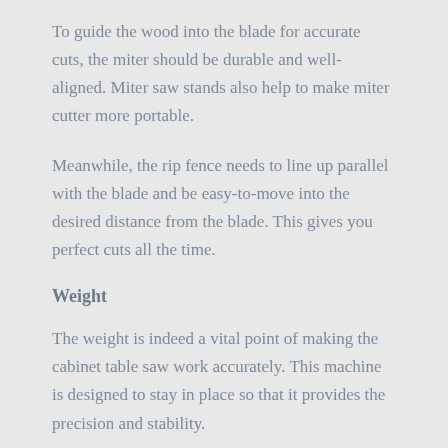To guide the wood into the blade for accurate cuts, the miter should be durable and well-aligned. Miter saw stands also help to make miter cutter more portable.
Meanwhile, the rip fence needs to line up parallel with the blade and be easy-to-move into the desired distance from the blade. This gives you perfect cuts all the time.
Weight
The weight is indeed a vital point of making the cabinet table saw work accurately. This machine is designed to stay in place so that it provides the precision and stability.